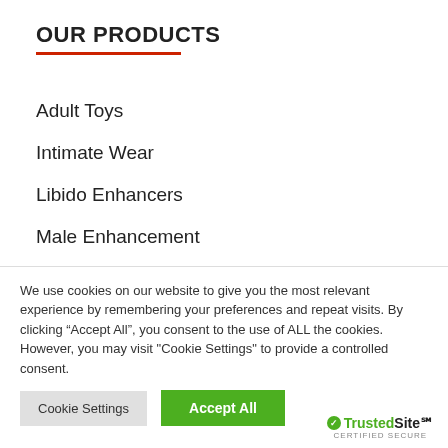OUR PRODUCTS
Adult Toys
Intimate Wear
Libido Enhancers
Male Enhancement
Muscle Builder
Stronger Erections
We use cookies on our website to give you the most relevant experience by remembering your preferences and repeat visits. By clicking “Accept All”, you consent to the use of ALL the cookies. However, you may visit "Cookie Settings" to provide a controlled consent.